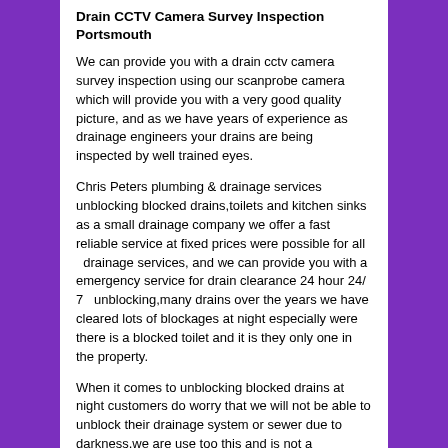Drain CCTV Camera Survey Inspection Portsmouth
We can provide you with a drain cctv camera survey inspection using our scanprobe camera which will provide you with a very good quality picture, and as we have years of experience as drainage engineers your drains are being inspected by well trained eyes.
Chris Peters plumbing & drainage services unblocking blocked drains,toilets and kitchen sinks as a small drainage company we offer a fast reliable service at fixed prices were possible for all  drainage services, and we can provide you with a emergency service for drain clearance 24 hour 24/ 7  unblocking,many drains over the years we have cleared lots of blockages at night especially were there is a blocked toilet and it is they only one in the property.
When it comes to unblocking blocked drains at night customers do worry that we will not be able to unblock their drainage system or sewer due to darkness,we are use too this and is not a problem,so please do call even